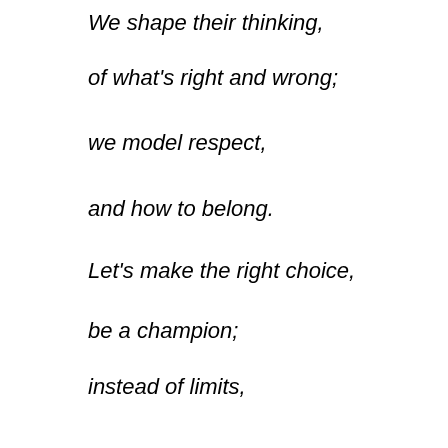We shape their thinking,
of what's right and wrong;
we model respect,
and how to belong.
Let's make the right choice,
be a champion;
instead of limits,
kids see dreams begin.
Dear Heavenly Father, thank You that You have given us the privilege and the